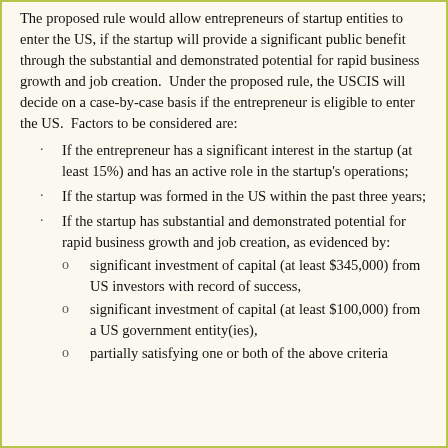The proposed rule would allow entrepreneurs of startup entities to enter the US, if the startup will provide a significant public benefit through the substantial and demonstrated potential for rapid business growth and job creation. Under the proposed rule, the USCIS will decide on a case-by-case basis if the entrepreneur is eligible to enter the US. Factors to be considered are:
If the entrepreneur has a significant interest in the startup (at least 15%) and has an active role in the startup's operations;
If the startup was formed in the US within the past three years;
If the startup has substantial and demonstrated potential for rapid business growth and job creation, as evidenced by:
significant investment of capital (at least $345,000) from US investors with record of success,
significant investment of capital (at least $100,000) from a US government entity(ies),
partially satisfying one or both of the above criteria